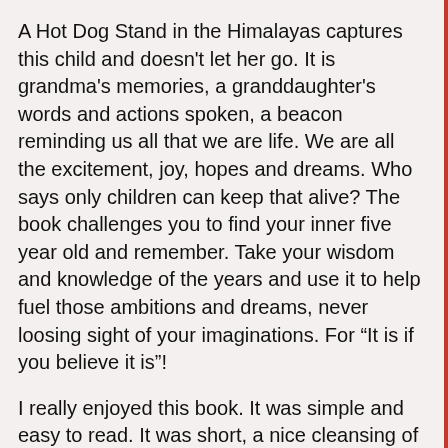A Hot Dog Stand in the Himalayas captures this child and doesn't let her go. It is grandma's memories, a granddaughter's words and actions spoken, a beacon reminding us all that we are life. We are all the excitement, joy, hopes and dreams. Who says only children can keep that alive? The book challenges you to find your inner five year old and remember. Take your wisdom and knowledge of the years and use it to help fuel those ambitions and dreams, never loosing sight of your imaginations. For “It is if you believe it is”!
I really enjoyed this book. It was simple and easy to read. It was short, a nice cleansing of my mental palette, a break from the longer novels I have been reading. I was wrapped up and drawn into my own childhood memories of my beloved Nana. It was as if I were five again and learning to cook and dream big. It is a flashback, but yet a glimpse of the future. It will challenge you, if not for yourself, then for future generations. I would recommend this book to all readers, young and old. It will hold something different for each, because we are all different. One thing will remain the same, the memory of your youth and the thoughts that young